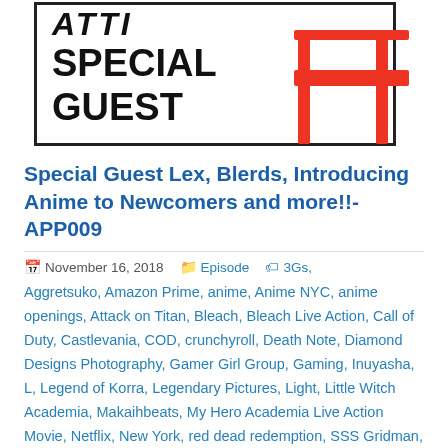[Figure (logo): ATTI Special Guest podcast logo with black text and red chair illustration on white background with border]
Special Guest Lex, Blerds, Introducing Anime to Newcomers and more!!-APP009
November 16, 2018  Episode  3Gs, Aggretsuko, Amazon Prime, anime, Anime NYC, anime openings, Attack on Titan, Bleach, Bleach Live Action, Call of Duty, Castlevania, COD, crunchyroll, Death Note, Diamond Designs Photography, Gamer Girl Group, Gaming, Inuyasha, L, Legend of Korra, Legendary Pictures, Light, Little Witch Academia, Makaihbeats, My Hero Academia Live Action Movie, Netflix, New York, red dead redemption, SSS Gridman, Studio Trigger, Valvrave the Liberator, Video Games, Viz Media, Yu Yu Hakusho